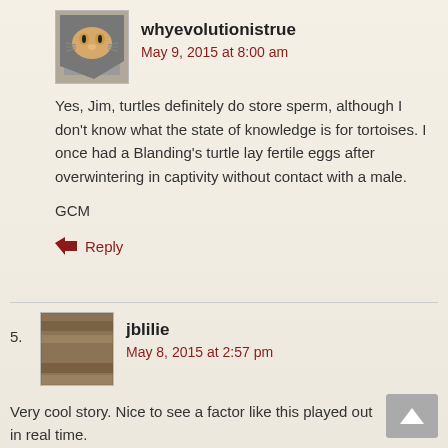whyevolutionistrue
May 9, 2015 at 8:00 am
Yes, Jim, turtles definitely do store sperm, although I don't know what the state of knowledge is for tortoises. I once had a Blanding's turtle lay fertile eggs after overwintering in captivity without contact with a male.
GCM
Reply
jblilie
May 8, 2015 at 2:57 pm
Very cool story. Nice to see a factor like this played out in real time.